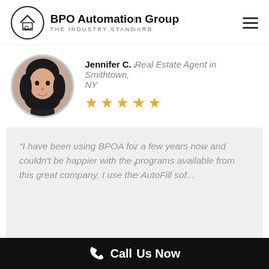BPO Automation Group — THE INDUSTRY STANDARD
Jennifer C. Real Estate Agent in Smithtown, NY ★★★★★
[Figure (photo): Circular portrait photo of Jennifer C., a woman with dark hair, smiling]
"I have been using BPOA for a few years now and couldn't be happier with the programs available from this great company. I use the AutoFill sof...
Read Mo...
Call Us Now